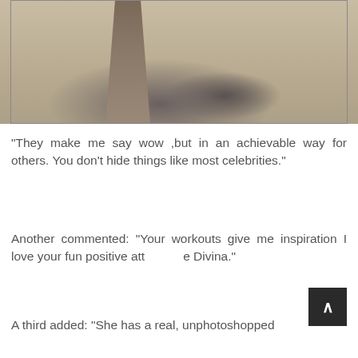[Figure (photo): A beach photo showing legs standing on sandy beach with shadow cast on the sand]
"They make me say wow ,but in an achievable way for others. You don't hide things like most celebrities."
Another commented: "Your workouts give me inspiration I love your fun positive attitude Divina."
A third added: "She has a real, unphotoshopped